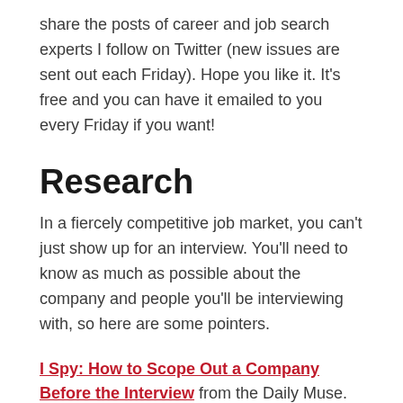share the posts of career and job search experts I follow on Twitter (new issues are sent out each Friday).  Hope you like it. It's free and you can have it emailed to you every Friday if you want!
Research
In a fiercely competitive job market, you can't just show up for an interview. You'll need to know as much as possible about the company and people you'll be interviewing with, so here are some pointers.
I Spy: How to Scope Out a Company Before the Interview from the Daily Muse.